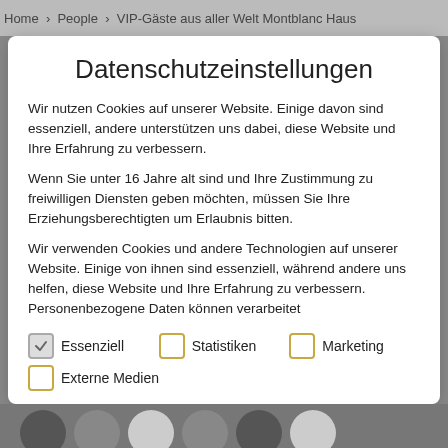Home > People > VIP-Gäste aus aller Welt Montblanc Haus
Datenschutzeinstellungen
Wir nutzen Cookies auf unserer Website. Einige davon sind essenziell, andere unterstützen uns dabei, diese Website und Ihre Erfahrung zu verbessern.
Wenn Sie unter 16 Jahre alt sind und Ihre Zustimmung zu freiwilligen Diensten geben möchten, müssen Sie Ihre Erziehungsberechtigten um Erlaubnis bitten.
Wir verwenden Cookies und andere Technologien auf unserer Website. Einige von ihnen sind essenziell, während andere uns helfen, diese Website und Ihre Erfahrung zu verbessern. Personenbezogene Daten können verarbeitet
Essenziell
Statistiken
Marketing
Externe Medien
[Figure (photo): Bottom strip showing partial circular portrait photos of people on a gray background]